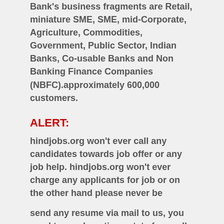Bank's business fragments are Retail, miniature SME, SME, mid-Corporate, Agriculture, Commodities, Government, Public Sector, Indian Banks, Co-usable Banks and Non Banking Finance Companies (NBFC).approximately 600,000 customers.
ALERT:
hindjobs.org won't ever call any candidates towards job offer or any job help. hindjobs.org won't ever charge any applicants for job or on the other hand please never be
send any resume via mail to us, you need to send continue state forwardly to the organization/company without help from anyone to ask and please beware of any fraud
calls massage or mails.
AND
Maximum Private Company's did not Mentioned about Expiry date of Jobs. So the positions Which you are